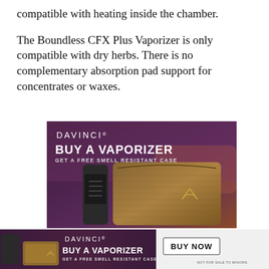compatible with heating inside the chamber.
The Boundless CFX Plus Vaporizer is only compatible with dry herbs. There is no complementary absorption pad support for concentrates or waxes.
[Figure (photo): DaVinci advertisement banner showing a vaporizer and smell-resistant case with text: DAVINCI, BUY A VAPORIZER, GET A FREE SMELL RESISTANT CASE]
[Figure (photo): DaVinci bottom advertisement banner showing vaporizer accessories and text: DAVINCI, BUY A VAPORIZER, GET A FREE SMELL RESISTANT CASE, BUY NOW, NOT FOR SALE TO MINORS]